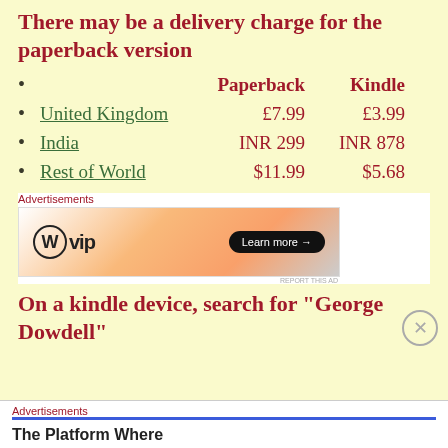There may be a delivery charge for the paperback version
Paperback   Kindle
United Kingdom   £7.99   £3.99
India   INR 299   INR 878
Rest of World   $11.99   $5.68
[Figure (other): WordPress VIP advertisement banner with 'Learn more' button]
On a kindle device, search for “George Dowdell”
[Figure (other): Second advertisement banner: 'The Platform Where']